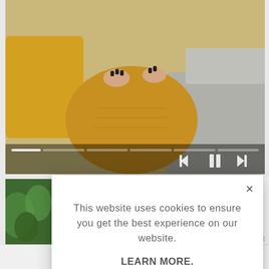[Figure (screenshot): Screenshot of a website with a cookie consent modal overlay. Background shows a video player with a woman in a mustard yellow sweater sitting on a couch, with video playback controls. A white modal dialog is overlaid with cookie consent text, a 'LEARN MORE.' link, and an 'ACCEPT COOKIES' button. A close (X) button appears in the top-right of the modal.]
This website uses cookies to ensure you get the best experience on our website.
LEARN MORE.
ACCEPT COOKIES